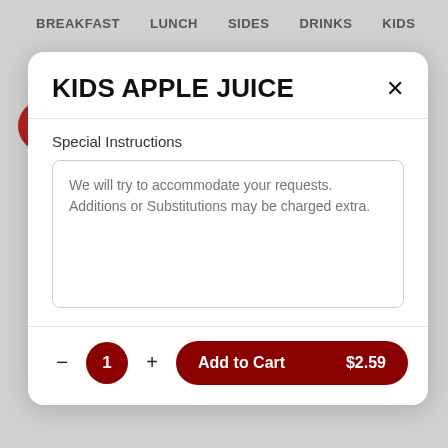BREAKFAST   LUNCH   SIDES   DRINKS   KIDS
KIDS APPLE JUICE
Special Instructions
We will try to accommodate your requests. Additions or Substitutions may be charged extra.
Add to Cart  $2.59
topped with whipped cream, one egg any style, and a slice o...